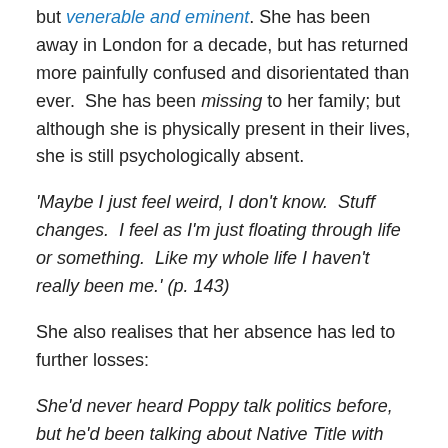but venerable and eminent. She has been away in London for a decade, but has returned more painfully confused and disorientated than ever.  She has been missing to her family; but although she is physically present in their lives, she is still psychologically absent.
'Maybe I just feel weird, I don't know.  Stuff changes.  I feel as I'm just floating through life or something.  Like my whole life I haven't really been me.' (p. 143)
She also realises that her absence has led to further losses:
She'd never heard Poppy talk politics before, but he'd been talking about Native Title with Joey; it was as if she'd missed out on a version of him.' (p.143)
(I felt exactly the same way when I met professional